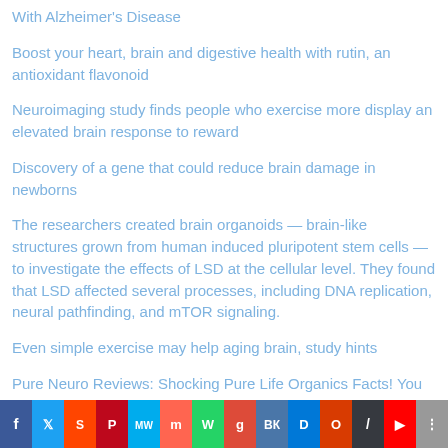With Alzheimer's Disease
Boost your heart, brain and digestive health with rutin, an antioxidant flavonoid
Neuroimaging study finds people who exercise more display an elevated brain response to reward
Discovery of a gene that could reduce brain damage in newborns
The researchers created brain organoids — brain-like structures grown from human induced pluripotent stem cells — to investigate the effects of LSD at the cellular level. They found that LSD affected several processes, including DNA replication, neural pathfinding, and mTOR signaling.
Even simple exercise may help aging brain, study hints
Pure Neuro Reviews: Shocking Pure Life Organics Facts! You Must Read Before Order!